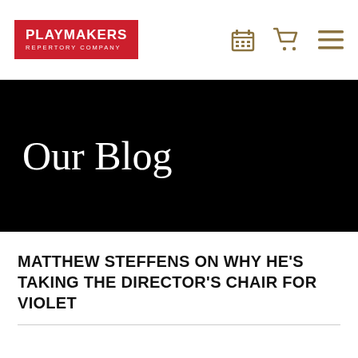PLAYMAKERS REPERTORY COMPANY
Our Blog
MATTHEW STEFFENS ON WHY HE'S TAKING THE DIRECTOR'S CHAIR FOR VIOLET